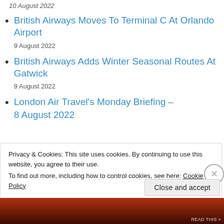10 August 2022
British Airways Moves To Terminal C At Orlando Airport
9 August 2022
British Airways Adds Winter Seasonal Routes At Gatwick
9 August 2022
London Air Travel's Monday Briefing –
8 August 2022
Privacy & Cookies: This site uses cookies. By continuing to use this website, you agree to their use.
To find out more, including how to control cookies, see here: Cookie Policy
Close and accept